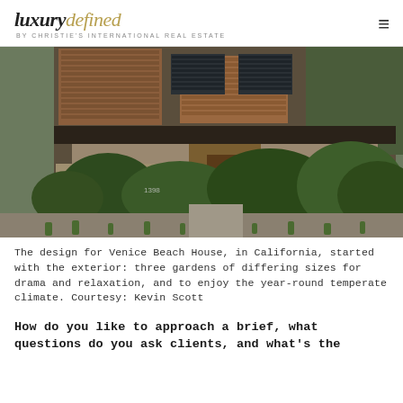luxury defined BY CHRISTIE'S INTERNATIONAL REAL ESTATE
[Figure (photo): Exterior photograph of Venice Beach House in California, showing a modern home with wood siding, large windows with metal louvers, lush green garden landscaping in the foreground, and trees surrounding the structure.]
The design for Venice Beach House, in California, started with the exterior: three gardens of differing sizes for drama and relaxation, and to enjoy the year-round temperate climate. Courtesy: Kevin Scott
How do you like to approach a brief, what questions do you ask clients, and what's the